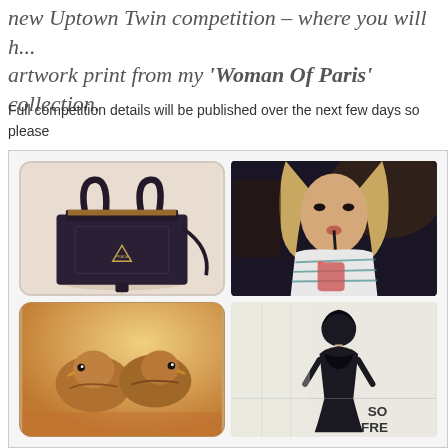new Uptown Twin competition – where you will h... artwork print from my 'Woman Of Paris' collection.
Full competition details will be published over the next few days so please
[Figure (photo): Grid of four Instagram-style photos: top-left is a dark navy Prada handbag on cream background with rounded corners; top-right is a woman with blonde hair drinking from a straw in a dark restaurant setting; bottom-left shows two birds or mittens in warm golden light; bottom-right shows a fashion illustration of a woman in black with text 'SO FRE...']